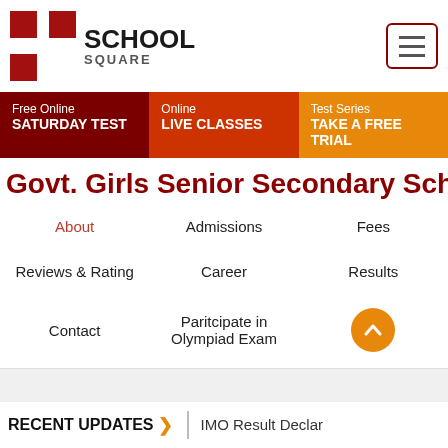[Figure (logo): School Square logo with red cross/grid pattern and text SCHOOL SQUARE]
School Square - navigation header with hamburger menu button
Free Online SATURDAY TEST
Online LIVE CLASSES
Test Series TAKE A FREE TRIAL
Govt. Girls Senior Secondary School
About
Admissions
Fees
Reviews & Rating
Career
Results
Contact
Paritcipate in Olympiad Exam
RECENT UPDATES > IMO Result Declar